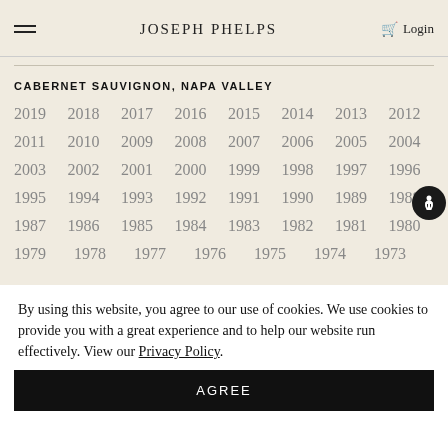Joseph Phelps — Login
CABERNET SAUVIGNON, NAPA VALLEY
2019 2018 2017 2016 2015 2014 2013 2012
2011 2010 2009 2008 2007 2006 2005 2004
2003 2002 2001 2000 1999 1998 1997 1996
1995 1994 1993 1992 1991 1990 1989 1988
1987 1986 1985 1984 1983 1982 1981 1980
1979 1978 1977 1976 1975 1974 1973
By using this website, you agree to our use of cookies. We use cookies to provide you with a great experience and to help our website run effectively. View our Privacy Policy.
AGREE